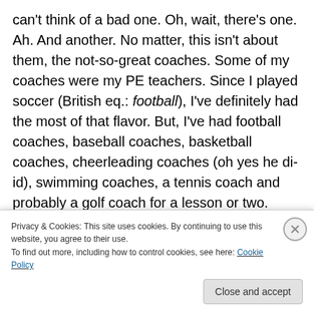can't think of a bad one. Oh, wait, there's one. Ah. And another. No matter, this isn't about them, the not-so-great coaches. Some of my coaches were my PE teachers. Since I played soccer (British eq.: football), I've definitely had the most of that flavor. But, I've had football coaches, baseball coaches, basketball coaches, cheerleading coaches (oh yes he di-id), swimming coaches, a tennis coach and probably a golf coach for a lesson or two.
[Figure (photo): Partially visible headshot photo of a person with brown hair against a blue background, cropped at bottom by cookie banner]
Privacy & Cookies: This site uses cookies. By continuing to use this website, you agree to their use.
To find out more, including how to control cookies, see here: Cookie Policy
Close and accept